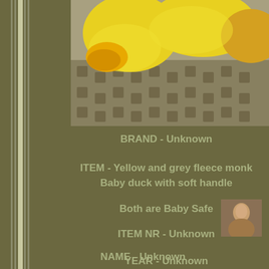[Figure (photo): Yellow and grey stuffed animal toys on a white crocheted lace tablecloth — a fleece monkey and a baby duck]
BRAND - Unknown
ITEM - Yellow and grey fleece monkey Baby duck with soft handle
Both are Baby Safe
ITEM NR - Unknown
NAME - Unknown
[Figure (photo): Small thumbnail photo of a person]
YEAR - Unknown